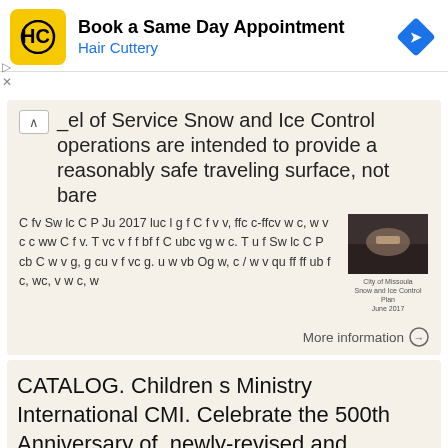[Figure (logo): Hair Cuttery ad banner with HC logo, 'Book a Same Day Appointment' heading, 'Hair Cuttery' subtext, and navigation arrow icon]
Level of Service Snow and Ice Control operations are intended to provide a reasonably safe traveling surface, not bare
C fv Sw lc C P Ju 2017 luc l g f C f v v, ffc c-ffcv w c, w v c c ww C f v. T vc v f f bf f C ubc vg w c. T u f Sw lc C P cb C w v g, g cu v f vc g. u w vb Og w, c / w v qu ff ff ub f c, wc, v w c, w
[Figure (photo): Small thumbnail image from City of Missoula Snow and Ice Control Plan June 2017]
More information →
CATALOG. Children s Ministry International CMI. Celebrate the 500th Anniversary of. newly-revised and colorized HEROES of the